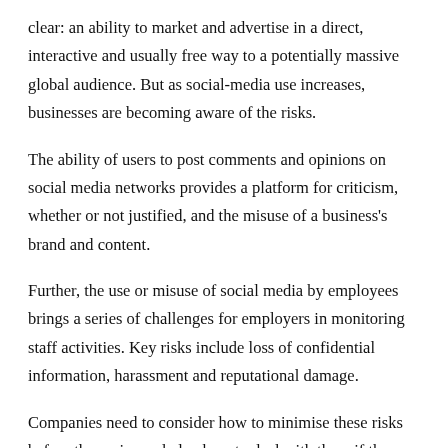clear: an ability to market and advertise in a direct, interactive and usually free way to a potentially massive global audience. But as social-media use increases, businesses are becoming aware of the risks.
The ability of users to post comments and opinions on social media networks provides a platform for criticism, whether or not justified, and the misuse of a business's brand and content.
Further, the use or misuse of social media by employees brings a series of challenges for employers in monitoring staff activities. Key risks include loss of confidential information, harassment and reputational damage.
Companies need to consider how to minimise these risks before they arise and plan how to deal with them if they do. Here are five steps for businesses to take in connection